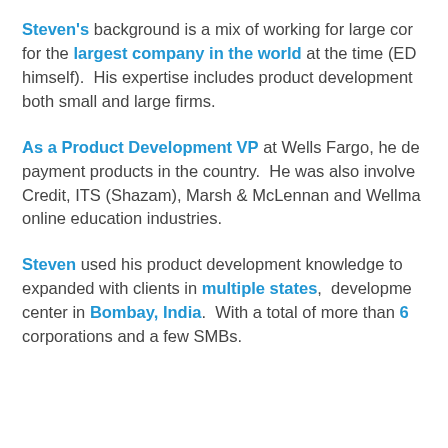Steven's background is a mix of working for large corporations, for the largest company in the world at the time (ED... himself). His expertise includes product development... both small and large firms.
As a Product Development VP at Wells Fargo, he de... payment products in the country. He was also involve... Credit, ITS (Shazam), Marsh & McLennan and Wellma... online education industries.
Steven used his product development knowledge to... expanded with clients in multiple states, developme... center in Bombay, India. With a total of more than 60... corporations and a few SMBs.